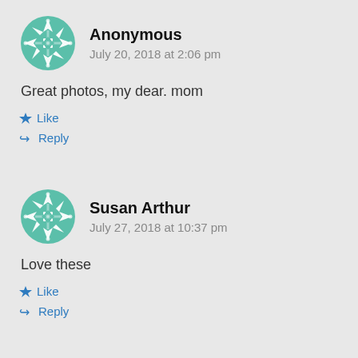[Figure (illustration): Teal geometric mandala/snowflake pattern avatar for Anonymous user]
Anonymous
July 20, 2018 at 2:06 pm
Great photos, my dear. mom
★ Like
↪ Reply
[Figure (illustration): Teal geometric mandala/snowflake pattern avatar for Susan Arthur user]
Susan Arthur
July 27, 2018 at 10:37 pm
Love these
★ Like
↪ Reply